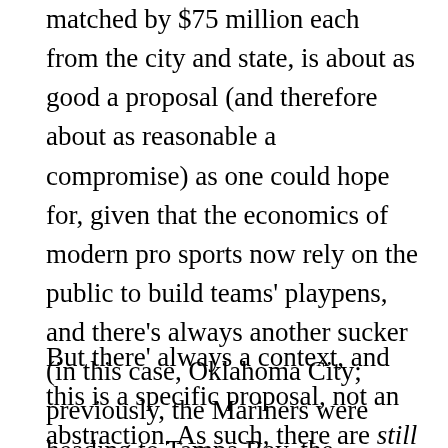matched by $75 million each from the city and state, is about as good a proposal (and therefore about as reasonable a compromise) as one could hope for, given that the economics of modern pro sports now rely on the public to build teams' playpens, and there's always another sucker (in this case, Oklahoma City; previously, the Mariners were heading to Tampa Bay, the Seahawks to Southern California) willing to pay the price. In any other circumstances, this deal would work.
But there' always a context, and this is a specific proposal, not an abstraction. As such, there are still three major problems we're not